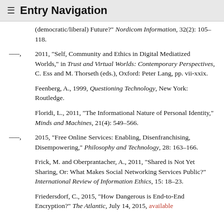≡ Entry Navigation
(democratic/liberal) Future?" Nordicom Information, 32(2): 105–118.
–––, 2011, "Self, Community and Ethics in Digital Mediatized Worlds," in Trust and Virtual Worlds: Contemporary Perspectives, C. Ess and M. Thorseth (eds.), Oxford: Peter Lang, pp. vii-xxix.
Feenberg, A., 1999, Questioning Technology, New York: Routledge.
Floridi, L., 2011, "The Informational Nature of Personal Identity," Minds and Machines, 21(4): 549–566.
–––, 2015, "Free Online Services: Enabling, Disenfranchising, Disempowering," Philosophy and Technology, 28: 163–166.
Frick, M. and Oberprantacher, A., 2011, "Shared is Not Yet Sharing, Or: What Makes Social Networking Services Public?" International Review of Information Ethics, 15: 18–23.
Friedersdorf, C., 2015, "How Dangerous is End-to-End Encryption?" The Atlantic, July 14, 2015, available